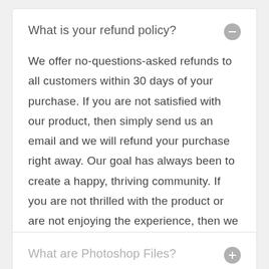What is your refund policy?
We offer no-questions-asked refunds to all customers within 30 days of your purchase. If you are not satisfied with our product, then simply send us an email and we will refund your purchase right away. Our goal has always been to create a happy, thriving community. If you are not thrilled with the product or are not enjoying the experience, then we have no interest in forcing you to stay an unhappy member.
What are Photoshop Files?